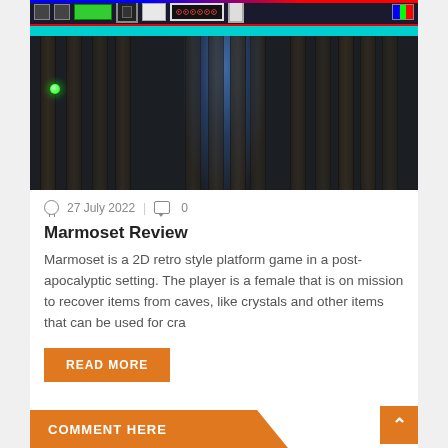[Figure (screenshot): Screenshot of Marmoset 2D retro platformer game showing a dark cave environment with blue atmospheric glow, vertical wooden planks, a small green orb on the left, and a game HUD bar at the top with health indicators, green bar, score display, and various icons on a dark background with red and blue border lines, and a cyan strip below.]
27 July 2022  0
Marmoset Review
Marmoset is a 2D retro style platform game in a post-apocalyptic setting. The player is a female that is on mission to recover items from caves, like crystals and other items that can be used for cra
READ MORE
COMMENT HERE